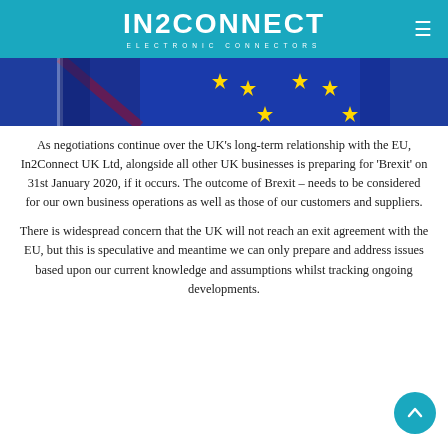IN2CONNECT ELECTRONIC CONNECTORS
[Figure (photo): UK and EU flags close-up showing blue EU flag with gold stars and UK flag partially visible]
As negotiations continue over the UK's long-term relationship with the EU, In2Connect UK Ltd, alongside all other UK businesses is preparing for 'Brexit' on 31st January 2020, if it occurs. The outcome of Brexit – needs to be considered for our own business operations as well as those of our customers and suppliers.
There is widespread concern that the UK will not reach an exit agreement with the EU, but this is speculative and meantime we can only prepare and address issues based upon our current knowledge and assumptions whilst tracking ongoing developments.